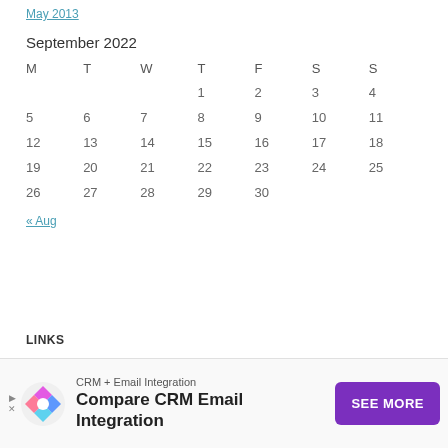May 2013
| M | T | W | T | F | S | S |
| --- | --- | --- | --- | --- | --- | --- |
|  |  |  | 1 | 2 | 3 | 4 |
| 5 | 6 | 7 | 8 | 9 | 10 | 11 |
| 12 | 13 | 14 | 15 | 16 | 17 | 18 |
| 19 | 20 | 21 | 22 | 23 | 24 | 25 |
| 26 | 27 | 28 | 29 | 30 |  |  |
« Aug
LINKS
[Figure (other): Advertisement banner: CRM + Email Integration - Compare CRM Email Integration with SEE MORE button in purple]